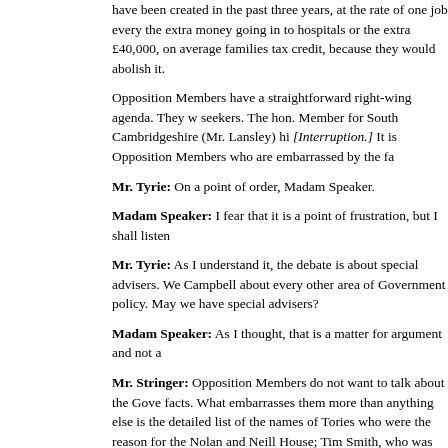have been created in the past three years, at the rate of one job every the extra money going in to hospitals or the extra £40,000, on average families tax credit, because they would abolish it.
Opposition Members have a straightforward right-wing agenda. They w seekers. The hon. Member for South Cambridgeshire (Mr. Lansley) hi [Interruption.] It is Opposition Members who are embarrassed by the fa
Mr. Tyrie: On a point of order, Madam Speaker.
Madam Speaker: I fear that it is a point of frustration, but I shall listen
Mr. Tyrie: As I understand it, the debate is about special advisers. We Campbell about every other area of Government policy. May we have special advisers?
Madam Speaker: As I thought, that is a matter for argument and not a
Mr. Stringer: Opposition Members do not want to talk about the Gove facts. What embarrasses them more than anything else is the detailed list of the names of Tories who were the reason for the Nolan and Neill House; Tim Smith, who was forced to stand down as the candidate for Member for Tatton; Graham Riddick, who was defeated in Colne Valley Michael Brown; and Angela Rumbold. They were the reasons why--
3 Jul 2000 : Column 123
Mr. James Arbuthnot (North-East Hampshire) rose in his place and
Question, That the Question be now put, put and agreed to.
Question put accordingly, That the original words stand part of the Que